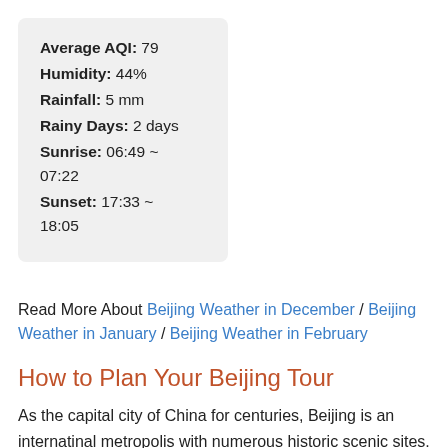| Average AQI: | 79 |
| Humidity: | 44% |
| Rainfall: | 5 mm |
| Rainy Days: | 2 days |
| Sunrise: | 06:49 ~ 07:22 |
| Sunset: | 17:33 ~ 18:05 |
Read More About Beijing Weather in December / Beijing Weather in January / Beijing Weather in February
How to Plan Your Beijing Tour
As the capital city of China for centuries, Beijing is an internatinal metropolis with numerous historic scenic sites. You can visit the Forbidden City to witness the royal buildings of the ancient China empire, hike on the incredible Great Wall, and wander along the traditional hutongs to experience the